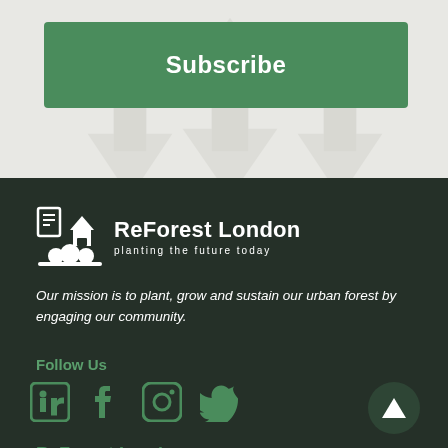Subscribe
[Figure (logo): ReForest London logo with tree/house icon and tagline 'planting the future today']
Our mission is to plant, grow and sustain our urban forest by engaging our community.
Follow Us
[Figure (infographic): Social media icons: LinkedIn, Facebook, Instagram, Twitter]
ReForest London